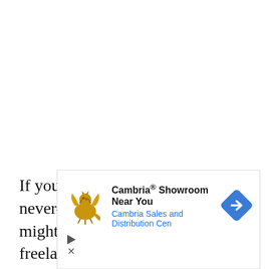If you spend your days surfing the never-ending Instagram feed, you might've already heard of a freelance illustrator called Isabelle St...
[Figure (other): Advertisement banner for Cambria® Showroom with a golden griffin logo, navigation arrow icon, play button and close button. Text reads: 'Cambria® Showroom Near You' and 'Cambria Sales and Distribution Cen']